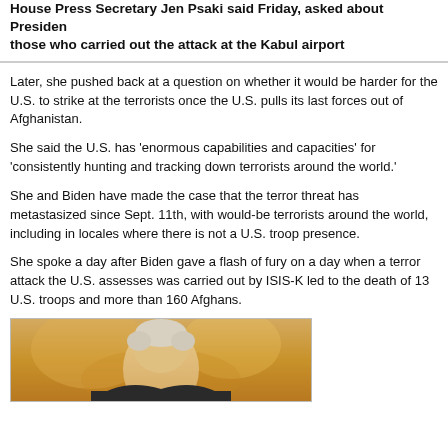House Press Secretary Jen Psaki said Friday, asked about President Biden's vow to pursue those who carried out the attack at the Kabul airport
Later, she pushed back at a question on whether it would be harder for the U.S. to strike at the terrorists once the U.S. pulls its last forces out of Afghanistan.
She said the U.S. has 'enormous capabilities and capacities' for 'consistently hunting and tracking down terrorists around the world.'
She and Biden have made the case that the terror threat has metastasized since Sept. 11th, with would-be terrorists around the world, including in locales where there is not a U.S. troop presence.
She spoke a day after Biden gave a flash of fury on a day when a terror attack the U.S. assesses was carried out by ISIS-K led to the death of 13 U.S. troops and more than 160 Afghans.
[Figure (photo): Photo of a person, likely President Biden, visible from approximately the shoulders up against a warm golden/amber background]